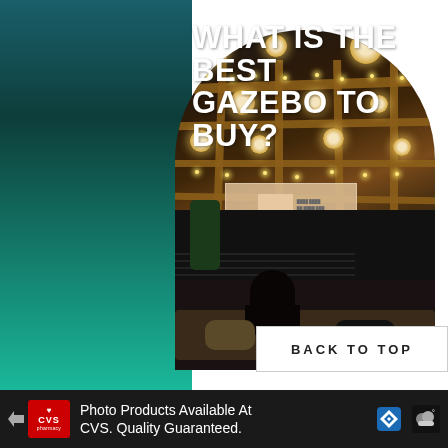@GARDENPATCHUK
WHAT IS THE BEST GAZEBO TO BUY?
[Figure (photo): Arch-framed photo of a garden gazebo interior with wooden beams, hanging globe lanterns, fairy lights, a projection screen showing content, plants, a sofa with a person and two dogs.]
BACK TO TOP
Photo Products Available At CVS. Quality Guaranteed.